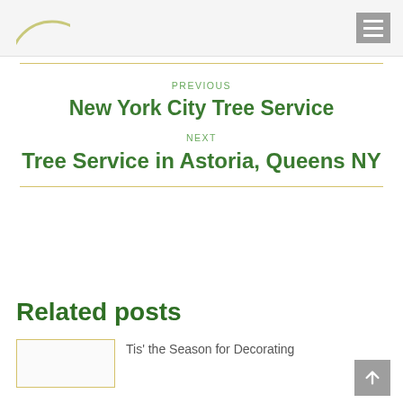Website header with logo and hamburger menu
PREVIOUS
New York City Tree Service
NEXT
Tree Service in Astoria, Queens NY
Related posts
Tis' the Season for Decorating